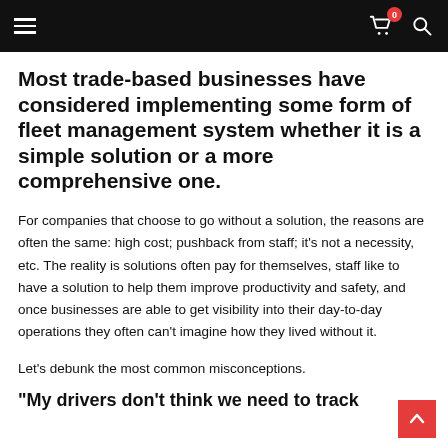Navigation bar with hamburger menu, cart icon with badge 0, and search icon
Most trade-based businesses have considered implementing some form of fleet management system whether it is a simple solution or a more comprehensive one.
For companies that choose to go without a solution, the reasons are often the same: high cost; pushback from staff; it’s not a necessity, etc. The reality is solutions often pay for themselves, staff like to have a solution to help them improve productivity and safety, and once businesses are able to get visibility into their day-to-day operations they often can’t imagine how they lived without it.
Let’s debunk the most common misconceptions.
“My drivers don’t think we need to track